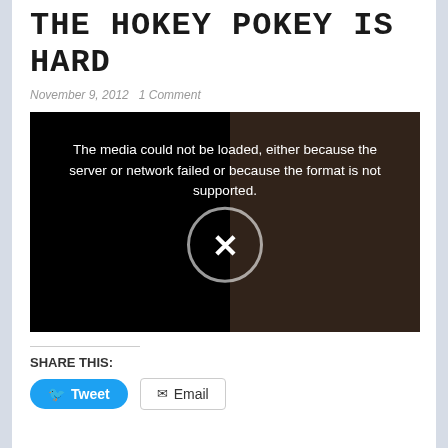THE HOKEY POKEY IS HARD
November 9, 2012   1 Comment
[Figure (screenshot): Embedded video player showing a media error message: 'The media could not be loaded, either because the server or network failed or because the format is not supported.' with a broken media icon (X in a circle) overlaid on a partially visible background video frame.]
SHARE THIS:
Tweet  Email